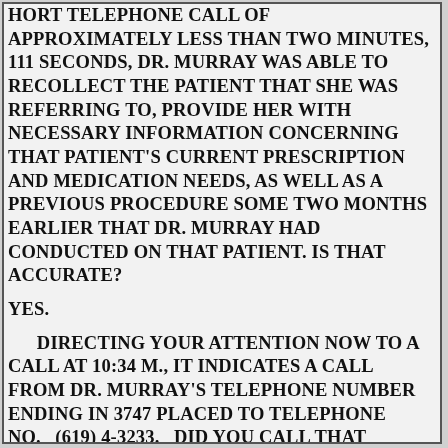HORT TELEPHONE CALL OF APPROXIMATELY LESS THAN TWO MINUTES, 111 SECONDS, DR. MURRAY WAS ABLE TO RECOLLECT THE PATIENT THAT SHE WAS REFERRING TO, PROVIDE HER WITH NECESSARY INFORMATION CONCERNING THAT PATIENT'S CURRENT PRESCRIPTION AND MEDICATION NEEDS, AS WELL AS A PREVIOUS PROCEDURE SOME TWO MONTHS EARLIER THAT DR. MURRAY HAD CONDUCTED ON THAT PATIENT. IS THAT ACCURATE?
YES.
DIRECTING YOUR ATTENTION NOW TO A CALL AT 10:34 M., IT INDICATES A CALL FROM DR. MURRAY'S TELEPHONE NUMBER ENDING IN 3747 PLACED TO TELEPHONE NO.   (619) 4-3233.   DID YOU CALL THAT NUMBER AS WELL —
YES.
— IN YOUR INVESTIGATION?
YES.
WHEN DID YOU DIAL THAT NUMBER?
ROUGHLY, I BELIEVE, THE SAME TIME FRAME. DON'T AVE THE EXACT DATE.